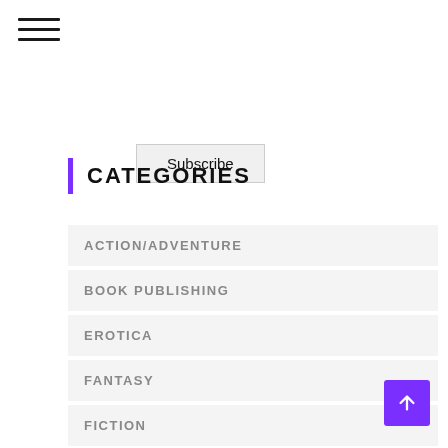[Figure (other): Hamburger menu icon with three horizontal lines]
Subscribe
CATEGORIES
ACTION/ADVENTURE
BOOK PUBLISHING
EROTICA
FANTASY
FICTION
MEDIA
MYSTERY